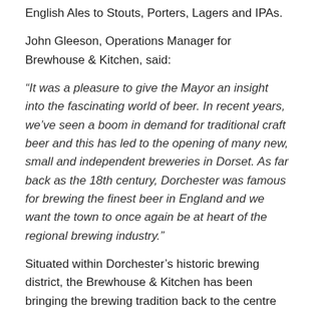English Ales to Stouts, Porters, Lagers and IPAs.
John Gleeson, Operations Manager for Brewhouse & Kitchen, said:
"It was a pleasure to give the Mayor an insight into the fascinating world of beer. In recent years, we've seen a boom in demand for traditional craft beer and this has led to the opening of many new, small and independent breweries in Dorset. As far back as the 18th century, Dorchester was famous for brewing the finest beer in England and we want the town to once again be at heart of the regional brewing industry."
Situated within Dorchester's historic brewing district, the Brewhouse & Kitchen has been bringing the brewing tradition back to the centre of the town. Since opening in 2014, the microbrewery, pub and restaurant has served locally produced and international craft beer. Taking part in the local brewing